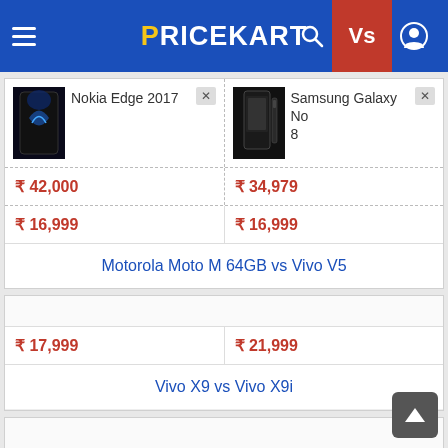PRICEKART — navigation header with hamburger menu, search, Vs, and user icons
[Figure (screenshot): Nokia Edge 2017 product image (dark phone with blue graphic)]
Nokia Edge 2017
[Figure (screenshot): Samsung Galaxy Note 8 product image (black phone with stylus)]
Samsung Galaxy Note 8
₹ 42,000
₹ 34,979
₹ 16,999
₹ 16,999
Motorola Moto M 64GB vs Vivo V5
₹ 17,999
₹ 21,999
Vivo X9 vs Vivo X9i
₹ 8,999